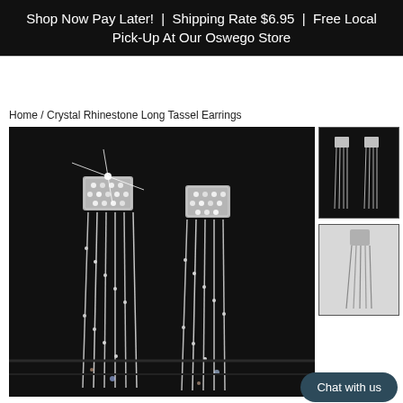Shop Now Pay Later! | Shipping Rate $6.95 | Free Local Pick-Up At Our Oswego Store
Home / Crystal Rhinestone Long Tassel Earrings
[Figure (photo): Close-up photo of two crystal rhinestone long tassel earrings on a dark background, showing sparkling stone clusters at top with multiple dangling chain strands]
[Figure (photo): Thumbnail: both crystal rhinestone long tassel earrings on black background, full length view]
[Figure (photo): Thumbnail: single crystal rhinestone long tassel earring on white/light background, side profile view]